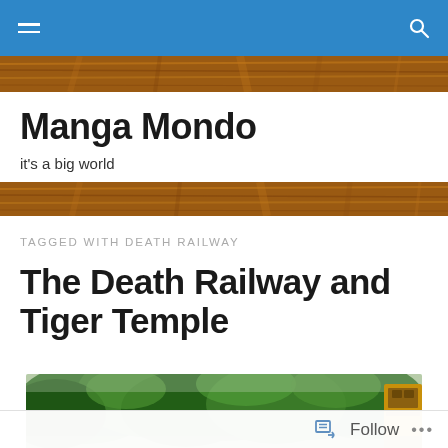Manga Mondo — navigation bar
Manga Mondo
it's a big world
TAGGED WITH DEATH RAILWAY
The Death Railway and Tiger Temple
[Figure (photo): Photograph showing dense green trees viewed from a moving train, with part of the train visible on the right edge.]
Follow  •••